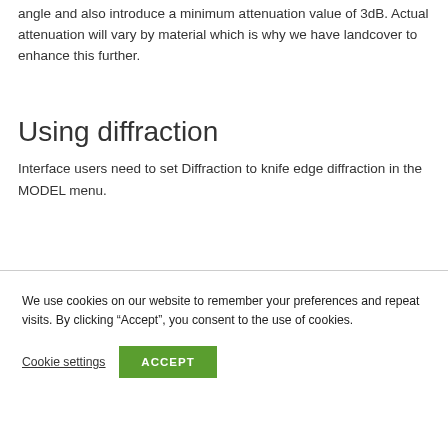angle and also introduce a minimum attenuation value of 3dB. Actual attenuation will vary by material which is why we have landcover to enhance this further.
Using diffraction
Interface users need to set Diffraction to knife edge diffraction in the MODEL menu.
We use cookies on our website to remember your preferences and repeat visits. By clicking “Accept”, you consent to the use of cookies.
Cookie settings
ACCEPT